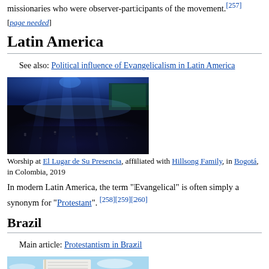missionaries who were observer-participants of the movement.[257]
[page needed]
Latin America
See also: Political influence of Evangelicalism in Latin America
[Figure (photo): Large indoor worship concert with blue and green stage lighting, large crowd with hands raised, at El Lugar de Su Presencia affiliated with Hillsong Family, Bogotá, Colombia, 2019]
Worship at El Lugar de Su Presencia, affiliated with Hillsong Family, in Bogotá, in Colombia, 2019
In modern Latin America, the term "Evangelical" is often simply a synonym for "Protestant".[258][259][260]
Brazil
Main article: Protestantism in Brazil
[Figure (photo): Partial view of a book or bible with light blue sky background, related to Protestantism in Brazil]